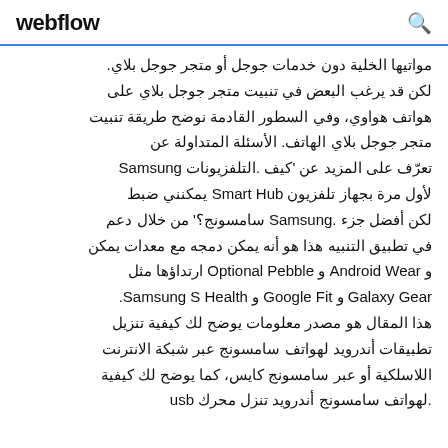webflow
مواتيها الخلية دون خدمات جوجل أو متجر جوجل بلاي. لكن قد يرغب البعض في تنبيت متجر جوجل بلاي على هواتف هواوي، وفي السطور القادمة نوضح طريقة تنبيت متجر جوجل بلاي الهاتف. الأسئلة المتداولة عن تعرّف على المزيد عن 'كيف .التلفزيونات Samsung لأول مرة بجهاز تلفزيون Smart Hub يمكنني ضبط لكن أفضل جزء .Samsung سامسونج؟' من خلال دعم في تطبيق التنبيه هذا هو أنه يمكن دمجه مع معدات يمكن و Android Wear و Optional Pebble ارتداؤها مثل Galaxy Gear و Google Fit و Samsung S Health. هذا المقال هو مصدر معلومات يوضح لك كيفية تنزيل تطبيقات أندرويد لهواتف سامسونج عبر شبكة الانترنت اللاسلكية أو عبر سامسونج كايس، كما يوضح لك كيفية لهواتف سامسونج أندرويد تنزل محرك usb.